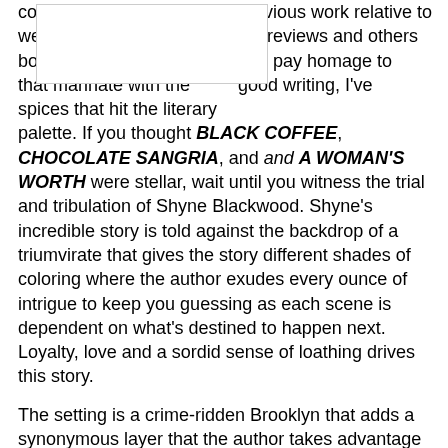[Figure (other): Blank white box placeholder for an image]
previous work relative to my reviews and others that pay homage to good writing, I've come to know this author well in this regard. Each book has its own juices that marinate with the spices that hit the literary palette. If you thought BLACK COFFEE, CHOCOLATE SANGRIA, and A WOMAN'S WORTH were stellar, wait until you witness the trial and tribulation of Shyne Blackwood. Shyne's incredible story is told against the backdrop of a triumvirate that gives the story different shades of coloring where the author exudes every ounce of intrigue to keep you guessing as each scene is dependent on what's destined to happen next. Loyalty, love and a sordid sense of loathing drives this story.
The setting is a crime-ridden Brooklyn that adds a synonymous layer that the author takes advantage of by blending of a set of triplets born into poverty and great consternation. The boys - Gabriel (Shug), Isaiah (Shyne) and Ezekiel (Shadow) are introduced in alternating chapters as the author weaves a fabric rough at times, but with enough traction that it moves along gathering tone and tenor for a